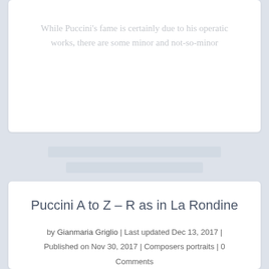While Puccini's fame is certainly due to his operatic works, there are some minor and not-so-minor
Puccini A to Z – R as in La Rondine
by Gianmaria Griglio | Last updated Dec 13, 2017 | Published on Nov 30, 2017 | Composers portraits | 0 Comments